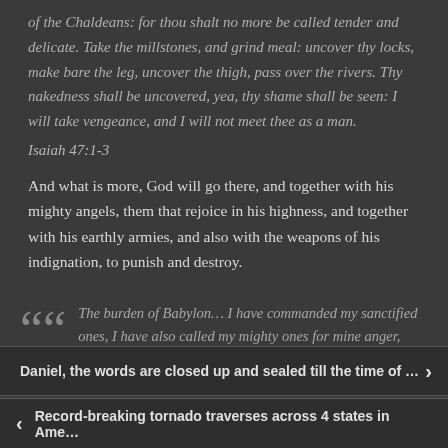of the Chaldeans: for thou shalt no more be called tender and delicate. Take the millstones, and grind meal: uncover thy locks, make bare the leg, uncover the thigh, pass over the rivers. Thy nakedness shall be uncovered, yea, thy shame shall be seen: I will take vengeance, and I will not meet thee as a man.
Isaiah 47:1-3
And what is more, God will go there, and together with his mighty angels, them that rejoice in his highness, and together with his earthly armies, and also with the weapons of his indignation, to punish and destroy.
The burden of Babylon… I have commanded my sanctified ones, I have also called my mighty ones for mine anger,
Daniel, the words are closed up and sealed till the time of …
Record-breaking tornado traverses across 4 states in Ame…